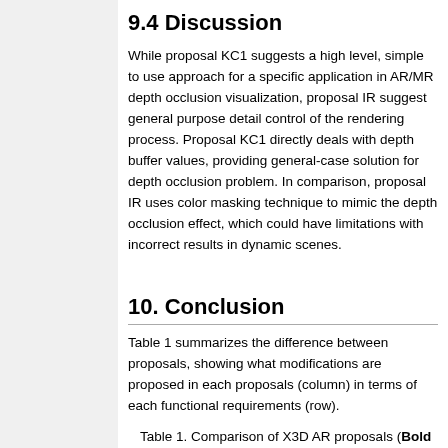9.4 Discussion
While proposal KC1 suggests a high level, simple to use approach for a specific application in AR/MR depth occlusion visualization, proposal IR suggest general purpose detail control of the rendering process. Proposal KC1 directly deals with depth buffer values, providing general-case solution for depth occlusion problem. In comparison, proposal IR uses color masking technique to mimic the depth occlusion effect, which could have limitations with incorrect results in dynamic scenes.
10. Conclusion
Table 1 summarizes the difference between proposals, showing what modifications are proposed in each proposals (column) in terms of each functional requirements (row).
Table 1. Comparison of X3D AR proposals (Bold modification to standard